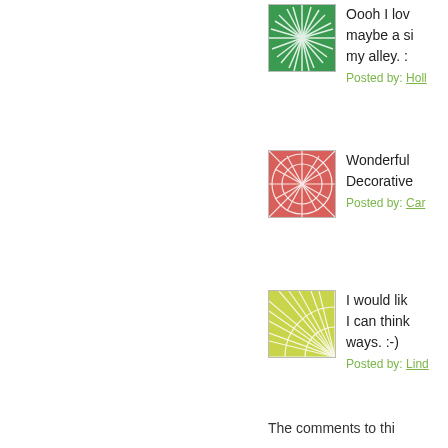[Figure (illustration): Green decorative circular pattern avatar icon]
Oooh I lov maybe a si my alley. :
Posted by: Holl
[Figure (illustration): Red/pink decorative web pattern avatar icon]
Wonderful Decorative
Posted by: Car
[Figure (illustration): Yellow-green decorative quarter-circle pattern avatar icon]
I would lik I can think ways. :-)
Posted by: Lind
The comments to thi